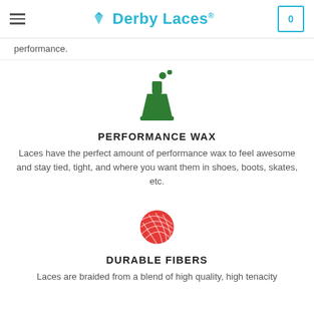Derby Laces
performance.
[Figure (illustration): Green flask/beaker icon with bubbles, representing performance wax]
PERFORMANCE WAX
Laces have the perfect amount of performance wax to feel awesome and stay tied, tight, and where you want them in shoes, boots, skates, etc.
[Figure (illustration): Red yarn ball icon, representing durable fibers]
DURABLE FIBERS
Laces are braided from a blend of high quality, high tenacity